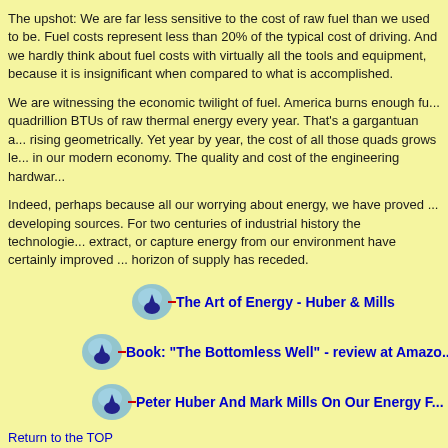The upshot: We are far less sensitive to the cost of raw fuel than we used to be. Fuel costs represent less than 20% of the typical cost of driving. And we hardly think about fuel costs with virtually all the tools and equipment, because it is insignificant when compared to what is accomplished.
We are witnessing the economic twilight of fuel. America burns enough fu... quadrillion BTUs of raw thermal energy every year. That's a gargantuan a... rising geometrically. Yet year by year, the cost of all those quads grows le... in our modern economy. The quality and cost of the engineering hardwar...
Indeed, perhaps because all our worrying about energy, we have proved ... developing sources. For two centuries of industrial history the technologie... extract, or capture energy from our environment have certainly improved ... horizon of supply has receded.
[Figure (illustration): Blue teardrop/gem icon with red arrow pointer next to link]
The Art of Energy - Huber & Mills
[Figure (illustration): Blue teardrop/gem icon with red arrow pointer next to link]
Book: "The Bottomless Well" - review at Amazo...
[Figure (illustration): Blue teardrop/gem icon with red arrow pointer next to link]
Peter Huber And Mark Mills On Our Energy F...
Return to the TOP
Why are we losing manufacturing jobs?
We keep making the point that manufacturing jobs keep going away - not... labor and offshore outsourcing, but because automation technology redu...